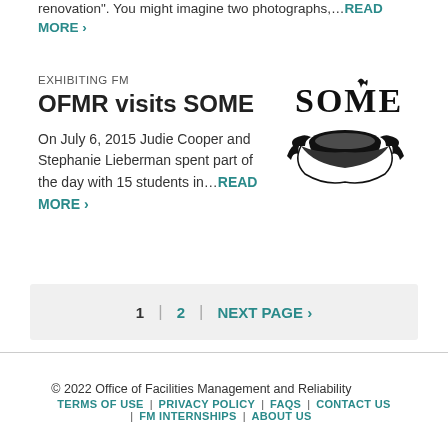renovation". You might imagine two photographs,...READ MORE ›
EXHIBITING FM
OFMR visits SOME
On July 6, 2015 Judie Cooper and Stephanie Lieberman spent part of the day with 15 students in...READ MORE ›
[Figure (logo): SOME organization logo — stylized text 'SOME' with an illustration of hands holding a bowl]
1  2  NEXT PAGE ›
© 2022 Office of Facilities Management and Reliability
TERMS OF USE | PRIVACY POLICY | FAQS | CONTACT US | FM INTERNSHIPS | ABOUT US